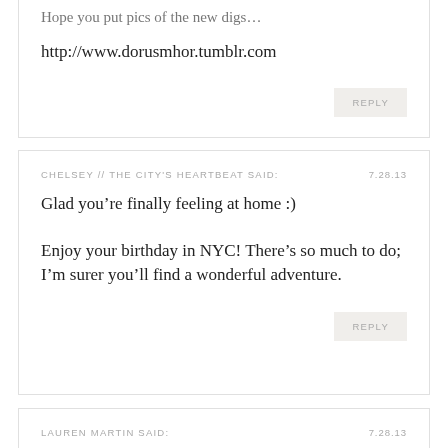Hope you put pics of the new digs…
http://www.dorusmhor.tumblr.com
REPLY
CHELSEY // THE CITY'S HEARTBEAT SAID:	7.28.13
Glad you're finally feeling at home :)
Enjoy your birthday in NYC! There's so much to do; I'm surer you'll find a wonderful adventure.
REPLY
LAUREN MARTIN SAID:	7.28.13
Great post! thanks for the link to Jacquelyn's blog for